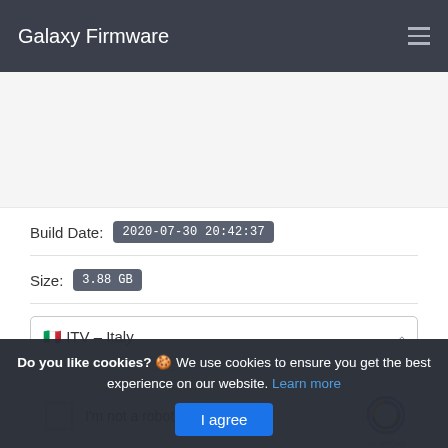Galaxy Firmware
Build Date: 2020-07-30 20:42:37
Size: 3.88 GB
🇮🇹 ITV – Italy
[Figure (other): reCAPTCHA checkbox widget with 'I'm not a robot' label and Google reCAPTCHA logo]
🔗 Generate download Link
Do you like cookies? 🍪 We use cookies to ensure you get the best experience on our website. Learn more
I agree